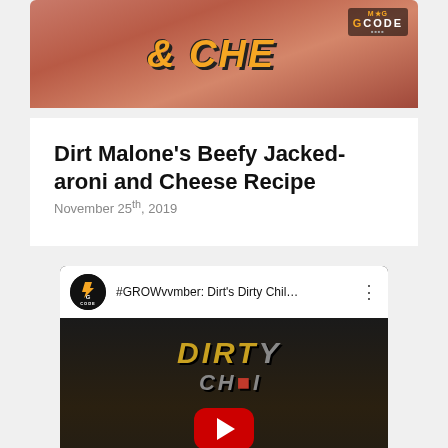[Figure (screenshot): Thumbnail image with orange/red background showing '& CHE...' text in orange with a MAG CODE logo in top right corner]
Dirt Malone's Beefy Jacked-aroni and Cheese Recipe
November 25th, 2019
[Figure (screenshot): YouTube video embed showing '#GROWvvmber: Dirt's Dirty Chil...' with MAG CODE channel logo and a thumbnail showing 'DIRTY CHILI RECIPE' text with YouTube play button overlay]